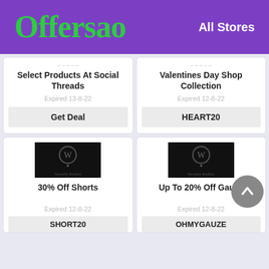Offersao | All Stores
Select Products At Social Threads
Expired 13-8-22
Get Deal
Valentines Day Shop Collection
Expired 12-8-22
HEART20
[Figure (logo): WordPress logo placeholder image on black background]
30% Off Shorts
Expired 12-8-22
SHORT20
[Figure (logo): WordPress logo placeholder image on black background]
Up To 20% Off Gauze
Expired 12-8-22
OHMYGAUZE